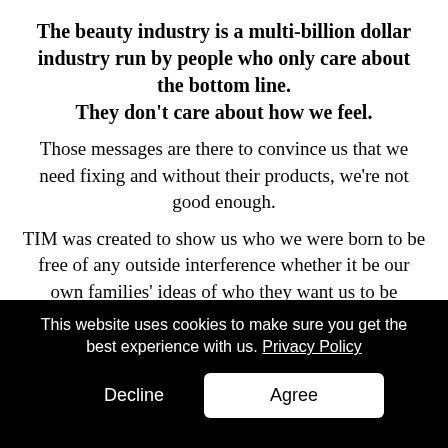The beauty industry is a multi-billion dollar industry run by people who only care about the bottom line. They don't care about how we feel.
Those messages are there to convince us that we need fixing and without their products, we're not good enough.
TIM was created to show us who we were born to be free of any outside interference whether it be our own families' ideas of who they want us to be
This website uses cookies to make sure you get the best experience with us. Privacy Policy
Decline
Agree